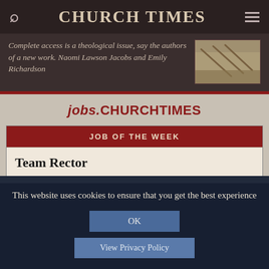CHURCH TIMES
Complete access is a theological issue, say the authors of a new work. Naomi Lawson Jacobs and Emily Richardson
[Figure (photo): Small thumbnail image of what appears to be farm/garden tools or similar objects]
jobs.CHURCHTIMES
JOB OF THE WEEK
Team Rector
This website uses cookies to ensure that you get the best experience
OK
View Privacy Policy